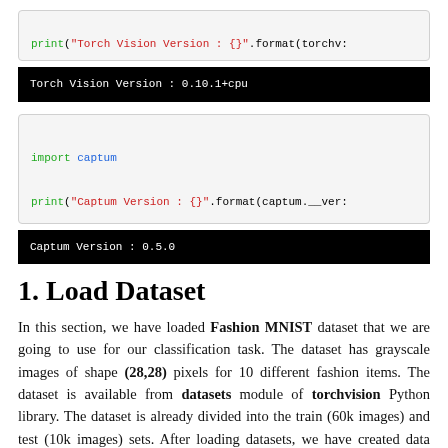print("Torch Vision Version : {}".format(torchv:
Torch Vision Version : 0.10.1+cpu
import captum

print("Captum Version : {}".format(captum.__ver:
Captum Version : 0.5.0
1. Load Dataset
In this section, we have loaded Fashion MNIST dataset that we are going to use for our classification task. The dataset has grayscale images of shape (28,28) pixels for 10 different fashion items. The dataset is available from datasets module of torchvision Python library. The dataset is already divided into the train (60k images) and test (10k images) sets. After loading datasets, we have created data loaders from them which will be used to g-